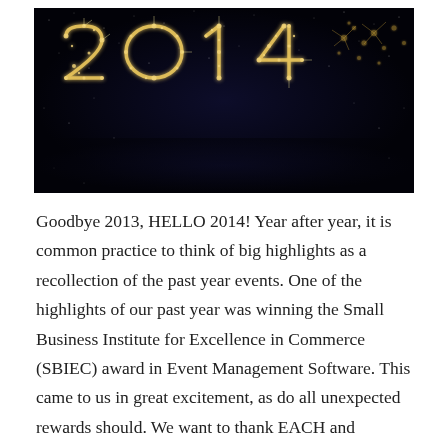[Figure (photo): A night sky photo showing the numerals '2014' written in glittering sparkler/fireworks light against a dark starry background.]
Goodbye 2013, HELLO 2014! Year after year, it is common practice to think of big highlights as a recollection of the past year events. One of the highlights of our past year was winning the Small Business Institute for Excellence in Commerce (SBIEC) award in Event Management Software. This came to us in great excitement, as do all unexpected rewards should. We want to thank EACH and EVERY one of our customers and event managers out there who have